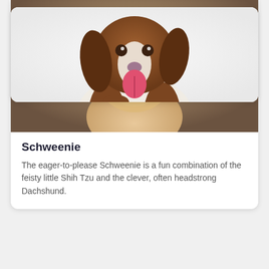[Figure (photo): Close-up photo of a small tan/cream puppy (Schweenie) with floppy ears looking at the camera, set against a warm brown bokeh background.]
Schweenie
The eager-to-please Schweenie is a fun combination of the feisty little Shih Tzu and the clever, often headstrong Dachshund.
[Figure (photo): Photo of a brown and white spaniel-type dog looking upward with tongue out, set against a white background.]